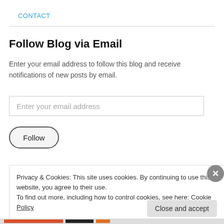CONTACT
Follow Blog via Email
Enter your email address to follow this blog and receive notifications of new posts by email.
Enter your email address
Follow
Privacy & Cookies: This site uses cookies. By continuing to use this website, you agree to their use.
To find out more, including how to control cookies, see here: Cookie Policy
Close and accept